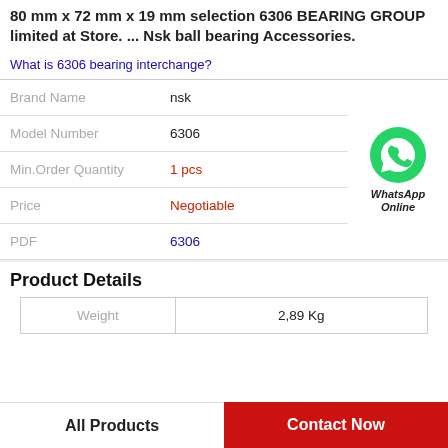80 mm x 72 mm x 19 mm selection 6306 BEARING GROUP limited at Store. ... Nsk ball bearing Accessories.
What is 6306 bearing interchange?
| Field | Value |
| --- | --- |
| Brand Name | nsk |
| Model Number | 6306 |
| Min.Order Quantity | 1 pcs |
| Price | Negotiable |
| PDF | 6306 |
[Figure (logo): WhatsApp Online green phone icon button]
Product Details
| Weight | 2,89 Kg |
| --- | --- |
| Weight | 2,89 Kg |
All Products
Contact Now